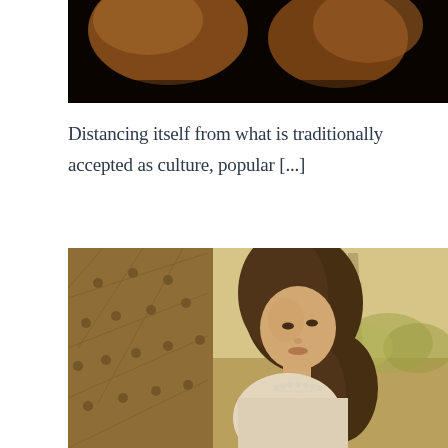[Figure (photo): Partial view of a dark background with warm orange/amber tones, appears to be a cropped portion of a fashion or lifestyle photo]
Distancing itself from what is traditionally accepted as culture, popular [...]
[Figure (photo): Sepia-toned fashion photograph of a young woman with long dark curly hair wearing a white outfit and pearl necklace, sitting against a tufted leather chair with the Eiffel Tower visible in the background]